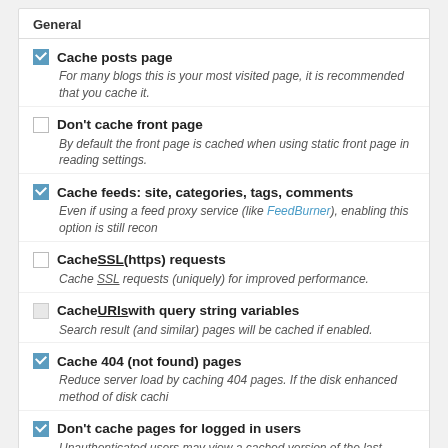General
Cache posts page — For many blogs this is your most visited page, it is recommended that you cache it.
Don't cache front page — By default the front page is cached when using static front page in reading settings.
Cache feeds: site, categories, tags, comments — Even if using a feed proxy service (like FeedBurner), enabling this option is still recon
Cache SSL (https) requests — Cache SSL requests (uniquely) for improved performance.
Cache URIs with query string variables — Search result (and similar) pages will be cached if enabled.
Cache 404 (not found) pages — Reduce server load by caching 404 pages. If the disk enhanced method of disk cachi
Don't cache pages for logged in users — Unauthenticated users may view a cached version of the last authenticated user's vie